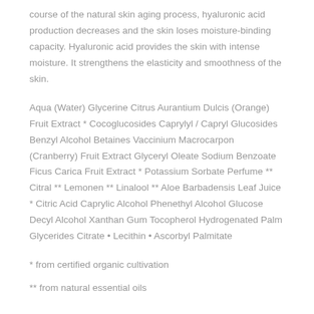course of the natural skin aging process, hyaluronic acid production decreases and the skin loses moisture-binding capacity. Hyaluronic acid provides the skin with intense moisture. It strengthens the elasticity and smoothness of the skin.
Aqua (Water) Glycerine Citrus Aurantium Dulcis (Orange) Fruit Extract * Cocoglucosides Caprylyl / Capryl Glucosides Benzyl Alcohol Betaines Vaccinium Macrocarpon (Cranberry) Fruit Extract Glyceryl Oleate Sodium Benzoate Ficus Carica Fruit Extract * Potassium Sorbate Perfume ** Citral ** Lemonen ** Linalool ** Aloe Barbadensis Leaf Juice * Citric Acid Caprylic Alcohol Phenethyl Alcohol Glucose Decyl Alcohol Xanthan Gum Tocopherol Hydrogenated Palm Glycerides Citrate • Lecithin • Ascorbyl Palmitate
* from certified organic cultivation
** from natural essential oils